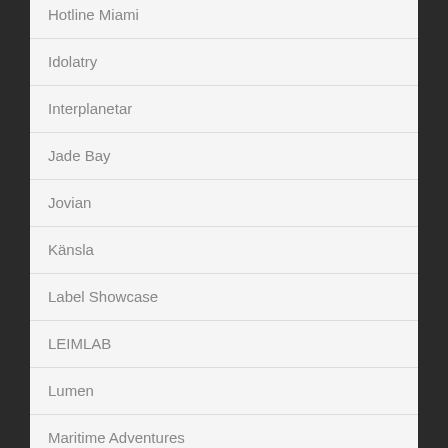Hotline Miami
Idolatry
Interplanetar
Jade Bay
Jovian
Känsla
Label Showcase
LEIMLAB
Lumen
Maritime Adventures